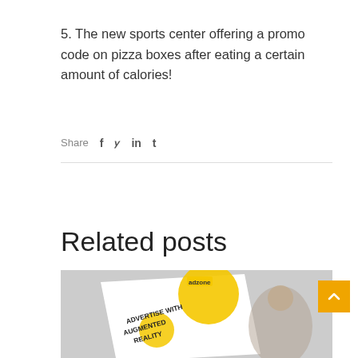5. The new sports center offering a promo code on pizza boxes after eating a certain amount of calories!
Share
Related posts
[Figure (photo): A promotional brochure or poster showing 'ADVERTISE WITH AUGMENTED REALITY' text with yellow circular design elements and a person in the background.]